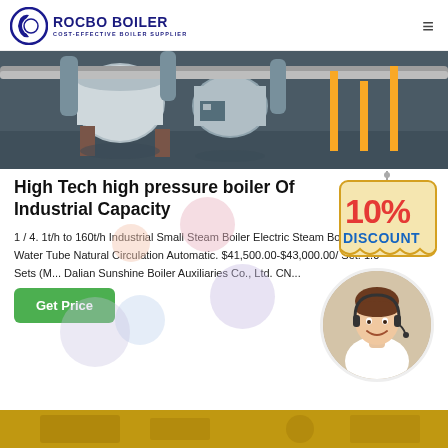[Figure (logo): Rocbo Boiler logo with crescent icon and text 'ROCBO BOILER - COST-EFFECTIVE BOILER SUPPLIER']
[Figure (photo): Industrial boiler facility interior showing large cylindrical boilers, pipes, and yellow support structures]
High Tech high pressure boiler Of Industrial Capacity
1 / 4. 1t/h to 160t/h Industrial Small Steam Boiler Electric Steam Boiler Price Water Tube Natural Circulation Automatic. $41,500.00-$43,000.00/ Set. 1.0 Sets (M... Dalian Sunshine Boiler Auxiliaries Co., Ltd. CN...
[Figure (infographic): 10% DISCOUNT badge - hanging sign style with red and blue text on cream/yellow background]
[Figure (photo): Customer support woman wearing headset, smiling, in circular crop]
[Figure (photo): Partial view of bottom section showing industrial/product imagery in yellow/gold tones]
Get Price